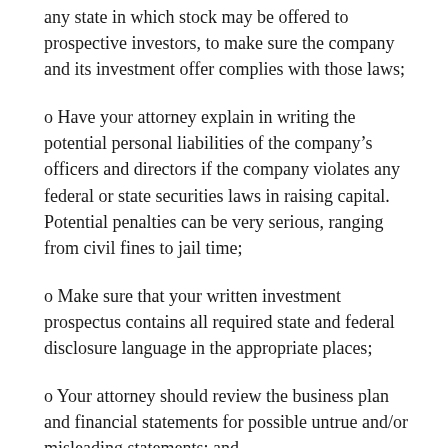any state in which stock may be offered to prospective investors, to make sure the company and its investment offer complies with those laws;
o Have your attorney explain in writing the potential personal liabilities of the company’s officers and directors if the company violates any federal or state securities laws in raising capital. Potential penalties can be very serious, ranging from civil fines to jail time;
o Make sure that your written investment prospectus contains all required state and federal disclosure language in the appropriate places;
o Your attorney should review the business plan and financial statements for possible untrue and/or misleading statements; and